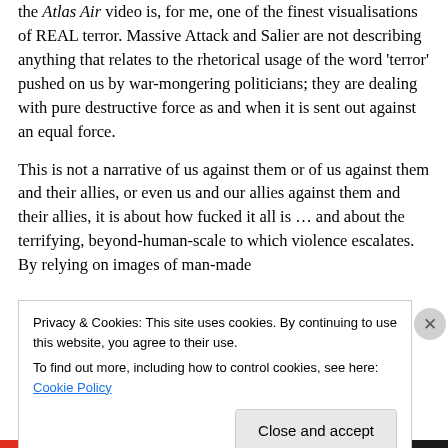the Atlas Air video is, for me, one of the finest visualisations of REAL terror. Massive Attack and Salier are not describing anything that relates to the rhetorical usage of the word 'terror' pushed on us by war-mongering politicians; they are dealing with pure destructive force as and when it is sent out against an equal force.
This is not a narrative of us against them or of us against them and their allies, or even us and our allies against them and their allies, it is about how fucked it all is … and about the terrifying, beyond-human-scale to which violence escalates. By relying on images of man-made
Privacy & Cookies: This site uses cookies. By continuing to use this website, you agree to their use.
To find out more, including how to control cookies, see here: Cookie Policy